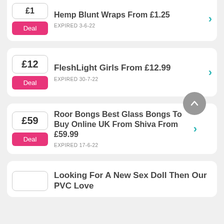Hemp Blunt Wraps From £1.25 EXPIRED 3-6-22
FleshLight Girls From £12.99 EXPIRED 30-7-22
Roor Bongs Best Glass Bongs To Buy Online UK From Shiva From £59.99 EXPIRED 17-6-22
Looking For A New Sex Doll Then Our PVC Love...